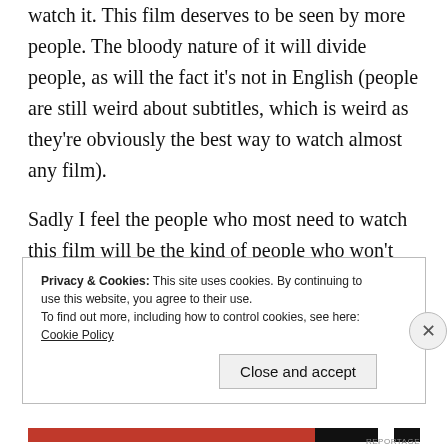watch it. This film deserves to be seen by more people. The bloody nature of it will divide people, as will the fact it's not in English (people are still weird about subtitles, which is weird as they're obviously the best way to watch almost any film).
Sadly I feel the people who most need to watch this film will be the kind of people who won't want to. Sucks for them as they're missing out on one of the highlights of the year. Not just in terms of the blood and the humour,
Privacy & Cookies: This site uses cookies. By continuing to use this website, you agree to their use.
To find out more, including how to control cookies, see here: Cookie Policy
Close and accept